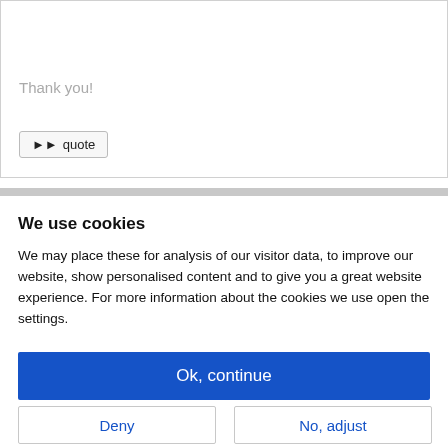Thank you!
▶▶ quote
We use cookies
We may place these for analysis of our visitor data, to improve our website, show personalised content and to give you a great website experience. For more information about the cookies we use open the settings.
Ok, continue
Deny
No, adjust